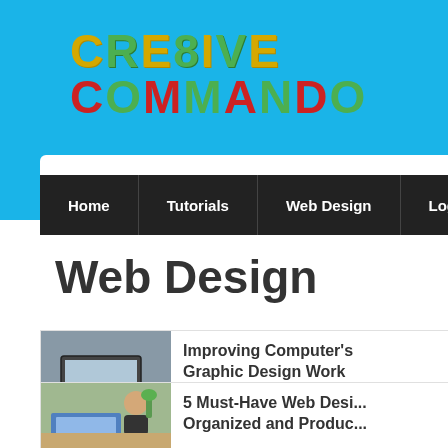[Figure (logo): Cre8ive Commando logo with colorful stylized text in yellow-green and red]
Home | Tutorials | Web Design | Logo Design | To...
Web Design
[Figure (photo): Person pointing at a laptop screen]
Improving Computer's Graphic Design Work
Friday October 15, 2021  0 Comm...
[Figure (photo): Person working at a desk with design materials]
5 Must-Have Web Desi... Organized and Produc...